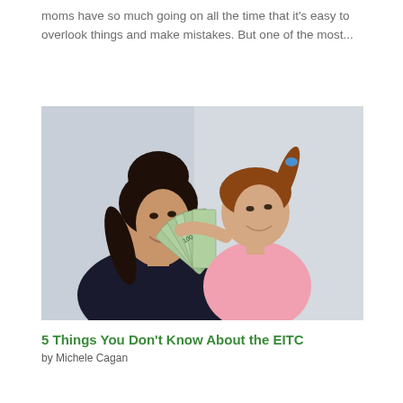moms have so much going on all the time that it's easy to overlook things and make mistakes. But one of the most...
[Figure (photo): A smiling woman and a young girl holding a fan of US dollar bills, looking at each other against a light blue-grey background.]
5 Things You Don't Know About the EITC
by Michele Cagan